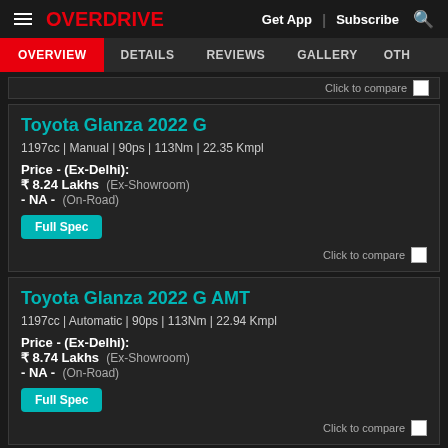OVERDRIVE | Get App | Subscribe
OVERVIEW | DETAILS | REVIEWS | GALLERY | OTHER
Click to compare
Toyota Glanza 2022 G
1197cc | Manual | 90ps | 113Nm | 22.35 Kmpl
Price - (Ex-Delhi): ₹ 8.24 Lakhs (Ex-Showroom) - NA - (On-Road)
Full Spec
Click to compare
Toyota Glanza 2022 G AMT
1197cc | Automatic | 90ps | 113Nm | 22.94 Kmpl
Price - (Ex-Delhi): ₹ 8.74 Lakhs (Ex-Showroom) - NA - (On-Road)
Full Spec
Click to compare
Toyota Glanza 2022 V